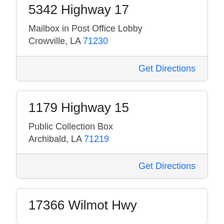5342 Highway 17
Mailbox in Post Office Lobby
Crowville, LA 71230
Get Directions
1179 Highway 15
Public Collection Box
Archibald, LA 71219
Get Directions
17366 Wilmot Hwy